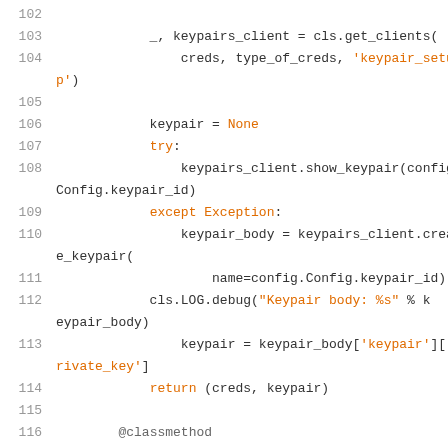Code listing lines 102-118 showing Python code with keypairs_client, keypair setup, try/except block, classmethod get_clients, and conditional.